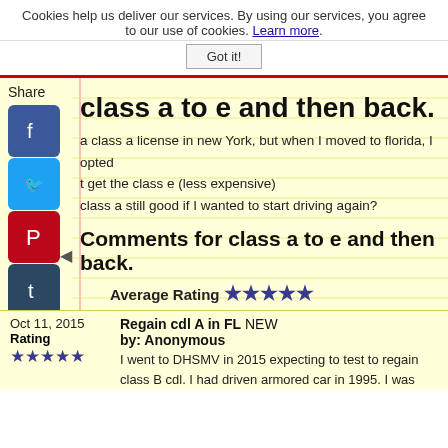Cookies help us deliver our services. By using our services, you agree to our use of cookies. Learn more.
Got it!
class a to e and then back.
Share
a class a license in new York, but when I moved to florida, I opted t get the class e (less expensive) class a still good if I wanted to start driving again?
Comments for class a to e and then back.
Average Rating ★★★★★
Click here to add your own comments
Oct 11, 2015
Rating
★★★★★
Regain cdl A in FL NEW
by: Anonymous
I went to DHSMV in 2015 expecting to test to regain class B cdl. I had driven armored car in 1995. I was